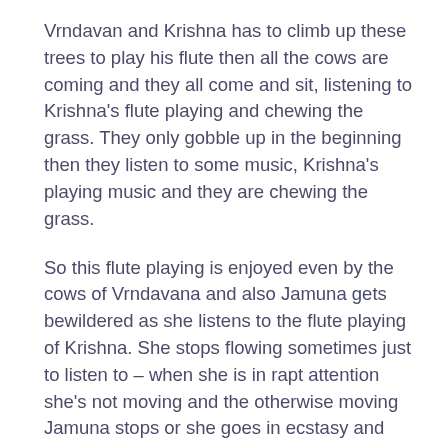Vrndavan and Krishna has to climb up these trees to play his flute then all the cows are coming and they all come and sit, listening to Krishna's flute playing and chewing the grass. They only gobble up in the beginning then they listen to some music, Krishna's playing music and they are chewing the grass.
So this flute playing is enjoyed even by the cows of Vrndavana and also Jamuna gets bewildered as she listens to the flute playing of Krishna. She stops flowing sometimes just to listen to – when she is in rapt attention she's not moving and the otherwise moving Jamuna stops or she goes in ecstasy and whirls round and round. Sometimes she goes reverse and flows in the other direction, all by the flute playing of Krishna.
Finally Rupa madhurya, we talked about that yesterday, it was the whole topic, Krishna's beauty is not skin deep. Our beauty is- how deep is our beauty, what is the depth